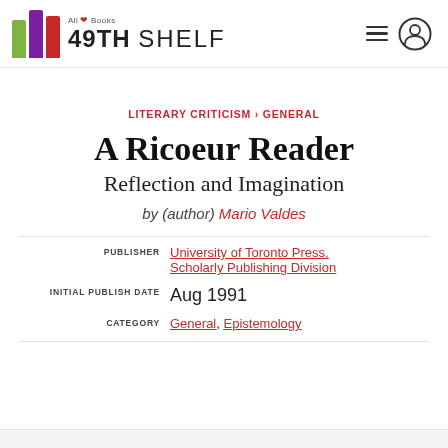[Figure (logo): 49th Shelf logo with colorful vertical bars (green, purple, red) and text '49TH SHELF' with 'All Books' tagline and maple leaf]
LITERARY CRITICISM › GENERAL
A Ricoeur Reader
Reflection and Imagination
by (author) Mario Valdes
PUBLISHER University of Toronto Press, Scholarly Publishing Division
INITIAL PUBLISH DATE Aug 1991
CATEGORY General, Epistemology